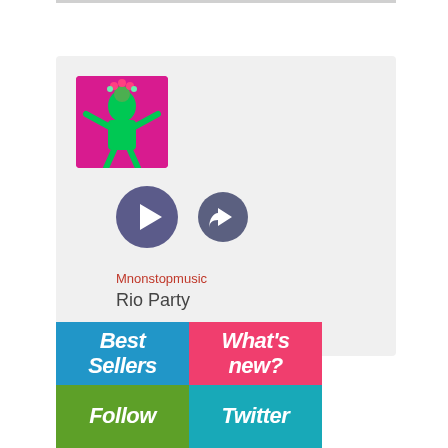[Figure (screenshot): Music player card with album art thumbnail of a dancer in green and pink costume, play button (dark purple circle with triangle), share/forward button (dark purple circle with arrow), artist name 'Mnonstopmusic' in red, and track title 'Rio Party' in dark gray.]
Mnonstopmusic
Rio Party
[Figure (infographic): 2x2 color grid: Blue cell 'Best Sellers', Pink cell 'What's new?', Green cell 'Follow', Teal cell 'Twitter']